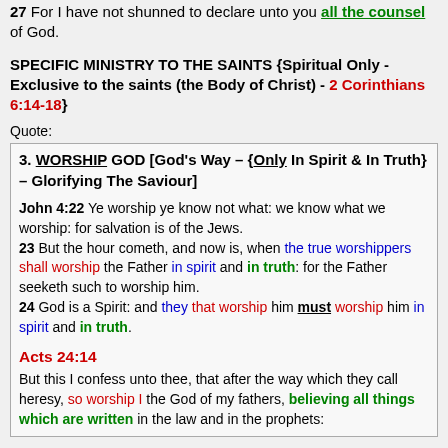27 For I have not shunned to declare unto you all the counsel of God.
SPECIFIC MINISTRY TO THE SAINTS {Spiritual Only - Exclusive to the saints (the Body of Christ) - 2 Corinthians 6:14-18}
Quote:
3. WORSHIP GOD [God's Way – {Only In Spirit & In Truth} – Glorifying The Saviour]

John 4:22 Ye worship ye know not what: we know what we worship: for salvation is of the Jews. 23 But the hour cometh, and now is, when the true worshippers shall worship the Father in spirit and in truth: for the Father seeketh such to worship him. 24 God is a Spirit: and they that worship him must worship him in spirit and in truth.

Acts 24:14
But this I confess unto thee, that after the way which they call heresy, so worship I the God of my fathers, believing all things which are written in the law and in the prophets: